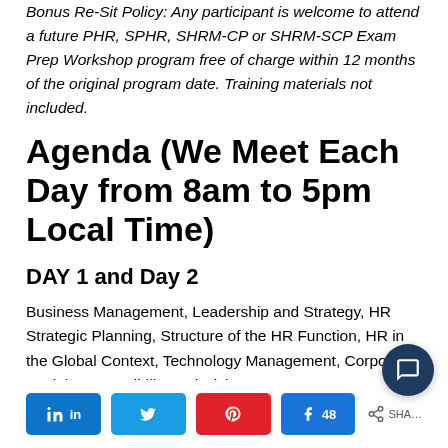Bonus Re-Sit Policy: Any participant is welcome to attend a future PHR, SPHR, SHRM-CP or SHRM-SCP Exam Prep Workshop program free of charge within 12 months of the original program date. Training materials not included.
Agenda  (We Meet Each Day from 8am to 5pm Local Time)
DAY 1 and Day 2
Business Management, Leadership and Strategy, HR Strategic Planning, Structure of the HR Function, HR in the Global Context, Technology Management, Corporate Social Responsibility and Risk Management – Developing, contributing to, and supporting the